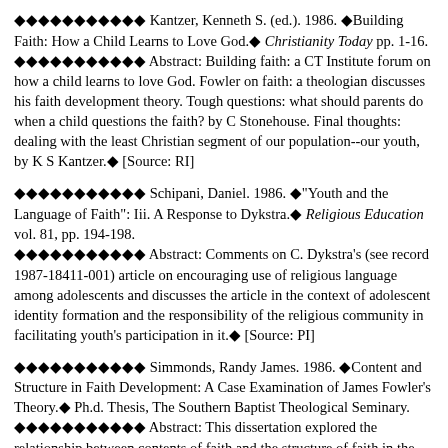◆◆◆◆◆◆◆◆◆◆◆ Kantzer, Kenneth S. (ed.). 1986. ◆Building Faith: How a Child Learns to Love God.◆ Christianity Today pp. 1-16.
◆◆◆◆◆◆◆◆◆◆◆ Abstract: Building faith: a CT Institute forum on how a child learns to love God. Fowler on faith: a theologian discusses his faith development theory. Tough questions: what should parents do when a child questions the faith? by C Stonehouse. Final thoughts: dealing with the least Christian segment of our population--our youth, by K S Kantzer.◆ [Source: RI]
◆◆◆◆◆◆◆◆◆◆◆ Schipani, Daniel. 1986. ◆"Youth and the Language of Faith": Iii. A Response to Dykstra.◆ Religious Education vol. 81, pp. 194-198.
◆◆◆◆◆◆◆◆◆◆◆ Abstract: Comments on C. Dykstra's (see record 1987-18411-001) article on encouraging use of religious language among adolescents and discusses the article in the context of adolescent identity formation and the responsibility of the religious community in facilitating youth's participation in it.◆ [Source: PI]
◆◆◆◆◆◆◆◆◆◆◆ Simmonds, Randy James. 1986. ◆Content and Structure in Faith Development: A Case Examination of James Fowler's Theory.◆ Ph.d. Thesis, The Southern Baptist Theological Seminary.
◆◆◆◆◆◆◆◆◆◆◆ Abstract: This dissertation explored the relationship between contents of faith and the structure of faith in the Faith Development Theory of James W. Fowler by examining issues of faith in two